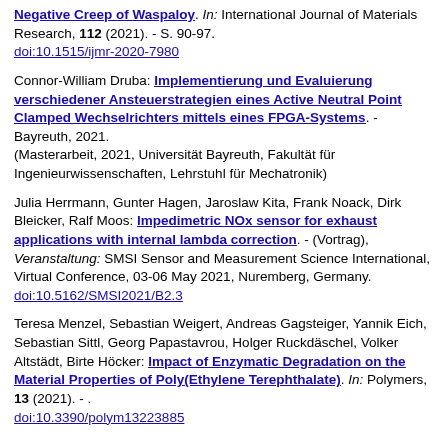Negative Creep of Waspaloy. In: International Journal of Materials Research, 112 (2021). - S. 90-97. doi:10.1515/ijmr-2020-7980
Connor-William Druba: Implementierung und Evaluierung verschiedener Ansteuerstrategien eines Active Neutral Point Clamped Wechselrichters mittels eines FPGA-Systems. - Bayreuth, 2021. (Masterarbeit, 2021, Universität Bayreuth, Fakultät für Ingenieurwissenschaften, Lehrstuhl für Mechatronik)
Julia Herrmann, Gunter Hagen, Jaroslaw Kita, Frank Noack, Dirk Bleicker, Ralf Moos: Impedimetric NOx sensor for exhaust applications with internal lambda correction. - (Vortrag), Veranstaltung: SMSI Sensor and Measurement Science International, Virtual Conference, 03-06 May 2021, Nuremberg, Germany. doi:10.5162/SMSI2021/B2.3
Teresa Menzel, Sebastian Weigert, Andreas Gagsteiger, Yannik Eich, Sebastian Sittl, Georg Papastavrou, Holger Ruckdäschel, Volker Altstädt, Birte Höcker: Impact of Enzymatic Degradation on the Material Properties of Poly(Ethylene Terephthalate). In: Polymers, 13 (2021). - . doi:10.3390/polym13223885